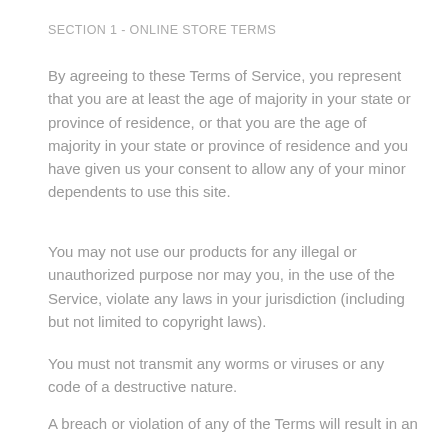SECTION 1 - ONLINE STORE TERMS
By agreeing to these Terms of Service, you represent that you are at least the age of majority in your state or province of residence, or that you are the age of majority in your state or province of residence and you have given us your consent to allow any of your minor dependents to use this site.
You may not use our products for any illegal or unauthorized purpose nor may you, in the use of the Service, violate any laws in your jurisdiction (including but not limited to copyright laws).
You must not transmit any worms or viruses or any code of a destructive nature.
A breach or violation of any of the Terms will result in an